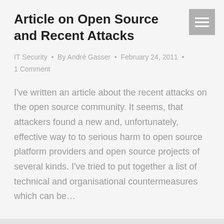Article on Open Source and Recent Attacks
IT Security · By André Gasser · February 24, 2011 · 1 Comment
I've written an article about the recent attacks on the open source community. It seems, that attackers found a new and, unfortunately, effective way to to serious harm to open source platform providers and open source projects of several kinds. I've tried to put together a list of technical and organisational countermeasures which can be…
FBI demands better means for wiretapping internet users